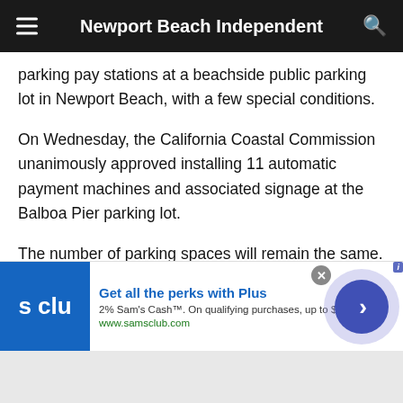Newport Beach Independent
parking pay stations at a beachside public parking lot in Newport Beach, with a few special conditions.
On Wednesday, the California Coastal Commission unanimously approved installing 11 automatic payment machines and associated signage at the Balboa Pier parking lot.
The number of parking spaces will remain the same. Each unit is wireless and solar powered.
[Figure (other): Advertisement banner for Sam's Club: 'Get all the perks with Plus' - 2% Sam's Cash. On qualifying purchases, up to $500/year. www.samsclub.com]